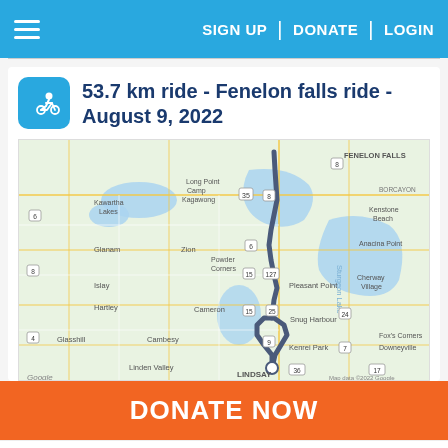SIGN UP | DONATE | LOGIN
53.7 km ride - Fenelon falls ride - August 9, 2022
[Figure (map): Google Maps route map showing a cycling route from Lindsay northward to Fenelon Falls area in Ontario, Canada. The route is shown as a dark blue/grey path running vertically through the center of the map, looping near Kenrei Park at the southern end near Lindsay, and ending near Fenelon Falls to the north. Places visible include Kawartha Lakes, Long Point, Camp Kagawong, Fenelon Falls, Sturgeon Lake, Pleasant Point, Kenstone Beach, Anacina Point, Cherway Village, Cameron, Cambesy, Glasshill, Linden Valley, Snug Harbour, Kenrei Park, Lindsay, Fox's Corners, Downeyville.]
DONATE NOW
28.2 km ride - Quick ride before the